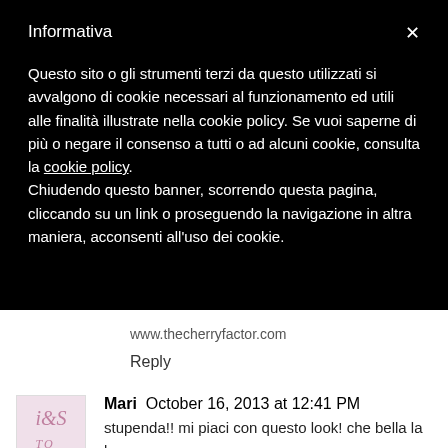Informativa
Questo sito o gli strumenti terzi da questo utilizzati si avvalgono di cookie necessari al funzionamento ed utili alle finalità illustrate nella cookie policy. Se vuoi saperne di più o negare il consenso a tutti o ad alcuni cookie, consulta la cookie policy.
Chiudendo questo banner, scorrendo questa pagina, cliccando su un link o proseguendo la navigazione in altra maniera, acconsenti all'uso dei cookie.
www.thecherryfactor.com
Reply
Mari  October 16, 2013 at 12:41 PM
stupenda!! mi piaci con questo look! che bella la borsa
New  post  http://emiliasalentoeffettomoda.altervista.org/pazzi-il-nightwear-babyvip/